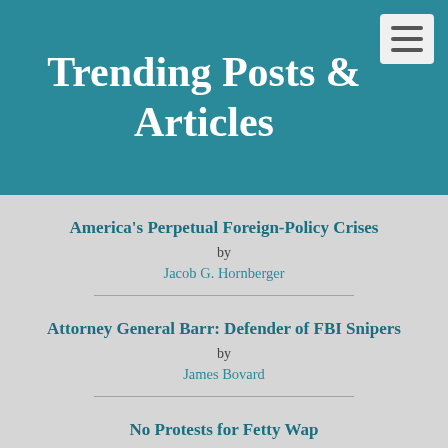Trending Posts & Articles
America's Perpetual Foreign-Policy Crises by Jacob G. Hornberger
Attorney General Barr: Defender of FBI Snipers by James Bovard
No Protests for Fetty Wap by Jacob G. Hornberger
Out of Control Government and Isaiah's Job by Richard M. Ebeling